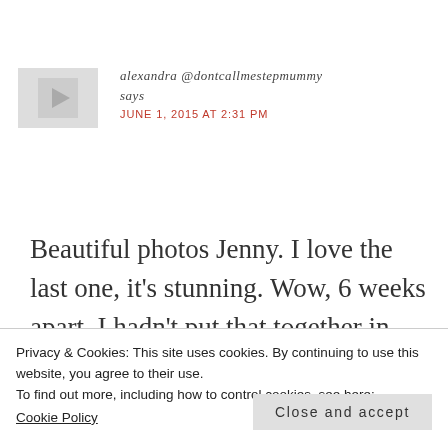[Figure (other): Avatar placeholder image — grey rectangle with a play/person icon]
alexandra @dontcallmestepmummy
says
JUNE 1, 2015 AT 2:31 PM
Beautiful photos Jenny. I love the last one, it's stunning. Wow, 6 weeks apart, I hadn't put that together in my head, of course it makes sense, but must be difficult for you all.
Good that you'll be with family and that
Privacy & Cookies: This site uses cookies. By continuing to use this website, you agree to their use.
To find out more, including how to control cookies, see here:
Cookie Policy
Close and accept